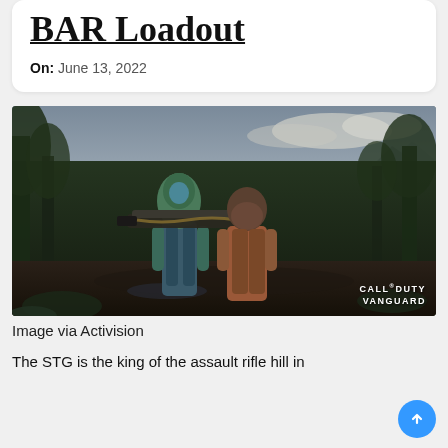BAR Loadout
On: June 13, 2022
[Figure (photo): Two Call of Duty Vanguard characters in jungle environment carrying a large weapon, with CALL OF DUTY VANGUARD watermark in lower right]
Image via Activision
The STG is the king of the assault rifle hill in